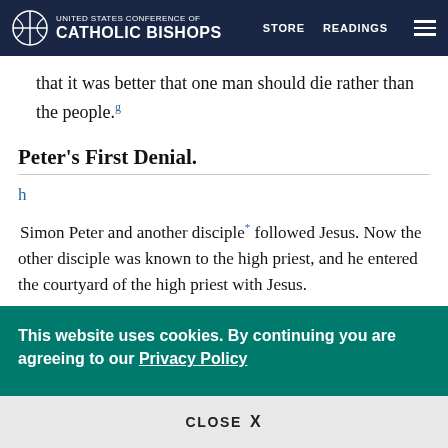UNITED STATES CONFERENCE OF CATHOLIC BISHOPS | STORE | READINGS
...had counseled the Jews that it was better that one man should die rather than the people.g
Peter's First Denial.
h
Simon Peter and another disciple* followed Jesus. Now the other disciple was known to the high priest, and he entered the courtyard of the high priest with Jesus.
This website uses cookies. By continuing you are agreeing to our Privacy Policy
CLOSE X